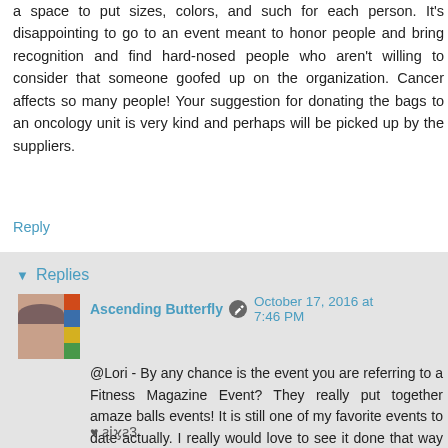a space to put sizes, colors, and such for each person. It's disappointing to go to an event meant to honor people and bring recognition and find hard-nosed people who aren't willing to consider that someone goofed up on the organization. Cancer affects so many people! Your suggestion for donating the bags to an oncology unit is very kind and perhaps will be picked up by the suppliers.
Reply
Replies
Ascending Butterfly  October 17, 2016 at 7:46 PM
@Lori - By any chance is the event you are referring to a Fitness Magazine Event? They really put together amaze balls events! It is still one of my favorite events to date actually. I really would love to see it done that way next year, although I'm sure that is NOT going to make me popular with other bloggers! LOL
♥ ƨϳϗƨ3